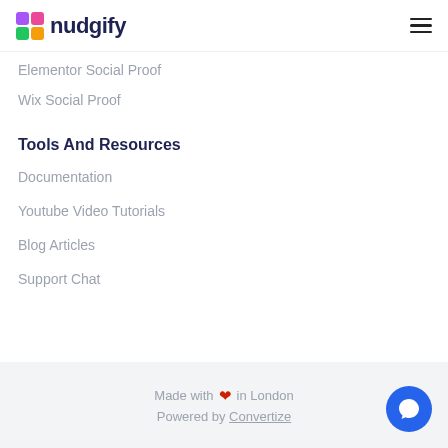nudgify
Elementor Social Proof
Wix Social Proof
Tools And Resources
Documentation
Youtube Video Tutorials
Blog Articles
Support Chat
Made with ❤ in London
Powered by Convertize